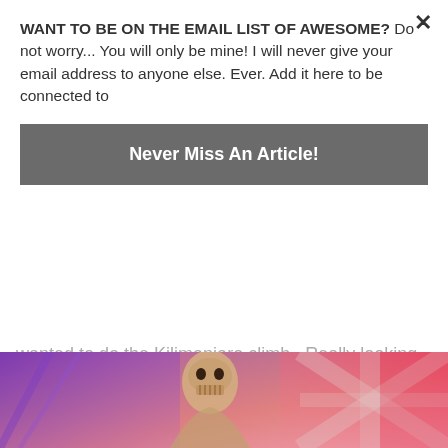WANT TO BE ON THE EMAIL LIST OF AWESOME? Do not worry... You will only be mine! I will never give your email address to anyone else. Ever. Add it here to be connected to
Never Miss An Article!
wanted to do the Kilimanjaro climb.  Really looking forward to it, and then I saw how much money they want for it, fees and park fees and all that guide shit.  I would've done it on me own, cause it's only a hike, and I'm that type of person.  I would've just walked it myself.  But,...
[Figure (photo): Concert or event photo showing a skeletal/zombie figure (resembling Iron Maiden's Eddie mascot) with pink and purple lighting and Union Jack flag elements in the background]